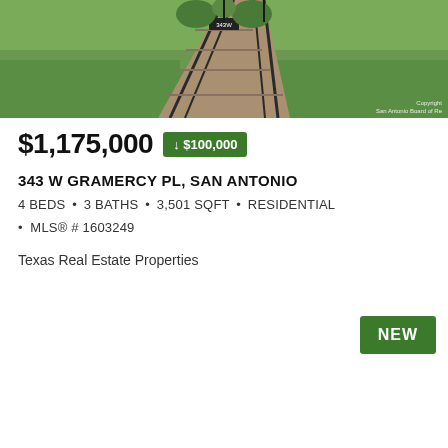[Figure (photo): Photo of a home entrance with wooden bridge/walkway steps leading to a door, surrounded by green grass and plants. Copyright watermark bottom right: 'Copyright San Antonio Board of Re...']
$1,175,000 ↓ $100,000
343 W GRAMERCY PL, SAN ANTONIO
4 BEDS • 3 BATHS • 3,501 SQFT • RESIDENTIAL
• MLS® # 1603249
Texas Real Estate Properties
NEW